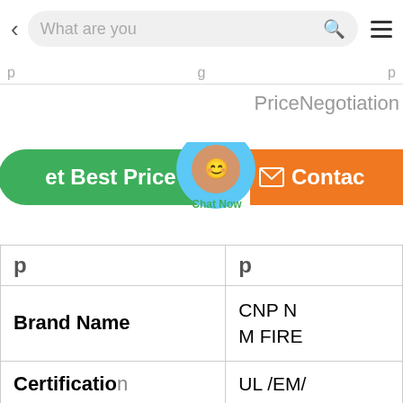< What are you... [search bar] ≡
Price￼Negotiation
[Figure (screenshot): Green 'Get Best Price' button on left, orange 'Contact' button on right, with a 'Chat Now' floating bubble in the center]
|  | p |
| --- | --- |
| Brand Name | CNP N M FIRE |
| Certification | UL/EM/ |